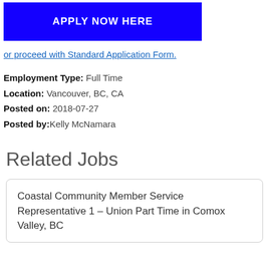[Figure (other): Blue 'APPLY NOW HERE' button]
or proceed with Standard Application Form.
Employment Type: Full Time
Location: Vancouver, BC, CA
Posted on: 2018-07-27
Posted by: Kelly McNamara
Related Jobs
Coastal Community Member Service Representative 1 – Union Part Time in Comox Valley, BC